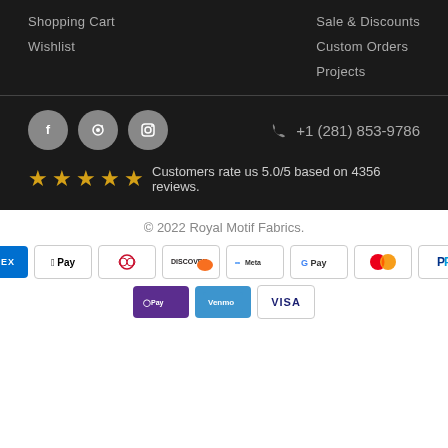Shopping Cart
Sale & Discounts
Wishlist
Custom Orders
Projects
[Figure (infographic): Social media icons (Facebook, Pinterest, Instagram) and phone number +1 (281) 853-9786]
Customers rate us 5.0/5 based on 4356 reviews.
© 2022 Royal Motif Fabrics.
[Figure (infographic): Payment method badges: AMEX, Apple Pay, Diners Club, Discover, Meta Pay, Google Pay, Mastercard, PayPal, Shop Pay, Venmo, Visa]